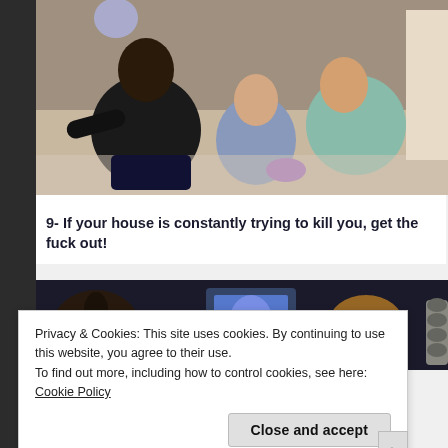[Figure (photo): A scene showing a person dressed in black crouching over two children sitting on the floor in a domestic setting, appearing distressed.]
9- If your house is constantly trying to kill you, get the fuck out!
[Figure (photo): A dark scene showing a glowing blue TV screen and other objects in a dimly lit room.]
Privacy & Cookies: This site uses cookies. By continuing to use this website, you agree to their use.
To find out more, including how to control cookies, see here: Cookie Policy
Close and accept